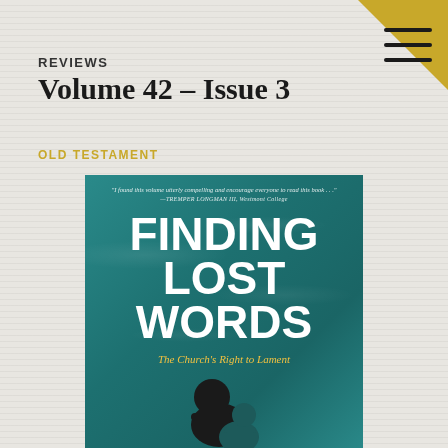REVIEWS
Volume 42 – Issue 3
OLD TESTAMENT
[Figure (illustration): Book cover of 'Finding Lost Words: The Church's Right to Lament' featuring a teal/blue water background with large white bold title text and two silhouetted figures at the bottom. Includes a blurb from Tremper Longman III at the top.]